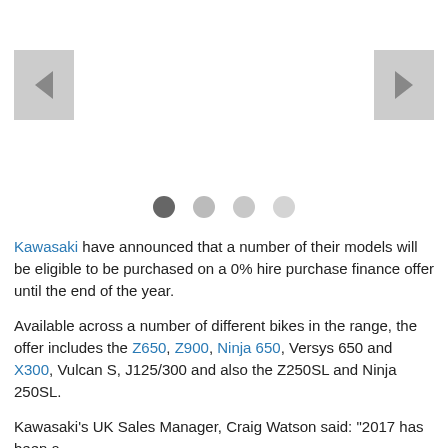[Figure (screenshot): Slideshow navigation area with left and right arrow buttons (grey rectangles) and four indicator dots below, first dot darkest (active), remaining dots progressively lighter.]
Kawasaki have announced that a number of their models will be eligible to be purchased on a 0% hire purchase finance offer until the end of the year.
Available across a number of different bikes in the range, the offer includes the Z650, Z900, Ninja 650, Versys 650 and X300, Vulcan S, J125/300 and also the Z250SL and Ninja 250SL.
Kawasaki's UK Sales Manager, Craig Watson said: "2017 has been a